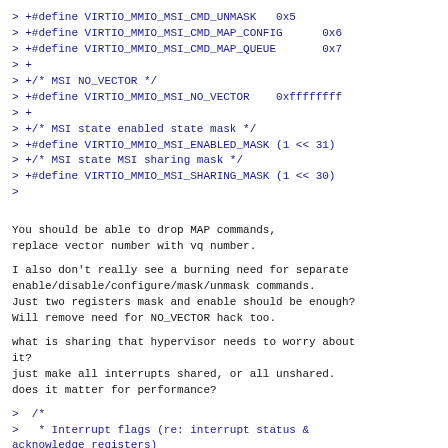> +#define VIRTIO_MMIO_MSI_CMD_UNMASK   0x5
> +#define VIRTIO_MMIO_MSI_CMD_MAP_CONFIG      0x6
> +#define VIRTIO_MMIO_MSI_CMD_MAP_QUEUE       0x7
> +
> +/* MSI NO_VECTOR */
> +#define VIRTIO_MMIO_MSI_NO_VECTOR    0xffffffff
> +
> +/* MSI state enabled state mask */
> +#define VIRTIO_MMIO_MSI_ENABLED_MASK (1 << 31)
> +/* MSI state MSI sharing mask */
> +#define VIRTIO_MMIO_MSI_SHARING_MASK (1 << 30)
>
You should be able to drop MAP commands,
replace vector number with vq number.
I also don't really see a burning need for separate
enable/disable/configure/mask/unmask commands.
Just two registers mask and enable should be enough?
Will remove need for NO_VECTOR hack too.
what is sharing that hypervisor needs to worry about
it?
just make all interrupts shared, or all unshared.
does it matter for performance?
>  /*
>   * Interrupt flags (re: interrupt status &
acknowledge registers)
> --